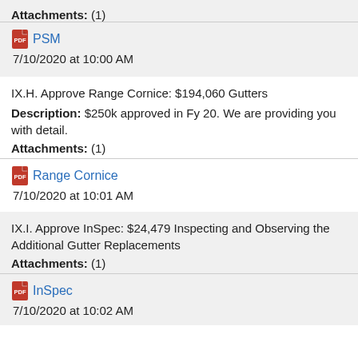Attachments: (1)
PSM
7/10/2020 at 10:00 AM
IX.H. Approve Range Cornice: $194,060 Gutters
Description: $250k approved in Fy 20. We are providing you with detail.
Attachments: (1)
Range Cornice
7/10/2020 at 10:01 AM
IX.I. Approve InSpec: $24,479 Inspecting and Observing the Additional Gutter Replacements
Attachments: (1)
InSpec
7/10/2020 at 10:02 AM